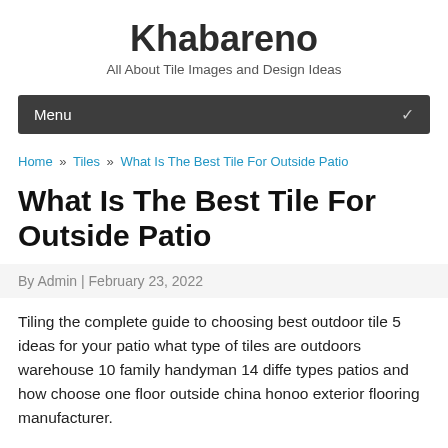Khabareno
All About Tile Images and Design Ideas
Menu
Home » Tiles » What Is The Best Tile For Outside Patio
What Is The Best Tile For Outside Patio
By Admin | February 23, 2022
Tiling the complete guide to choosing best outdoor tile 5 ideas for your patio what type of tiles are outdoors warehouse 10 family handyman 14 diffe types patios and how choose one floor outside china honoo exterior flooring manufacturer.